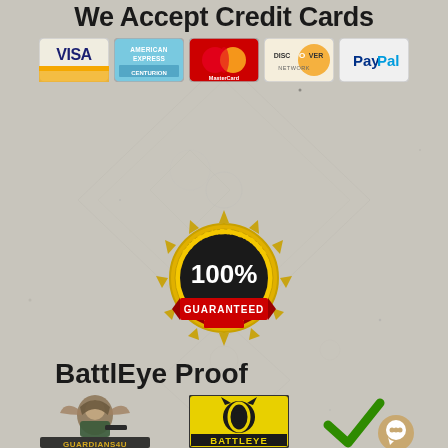We Accept Credit Cards
[Figure (logo): Payment method icons: VISA, American Express, MasterCard, Discover, PayPal]
[Figure (illustration): Diamond/baseball diamond outline pattern in background]
[Figure (illustration): Customer Satisfaction 100% Guaranteed gold seal badge with red banner]
BattlEye Proof
[Figure (logo): Guardians4U logo (gaming character), BattlEye logo (yellow card with cat eye icon), green checkmark, and chat bubble icon]